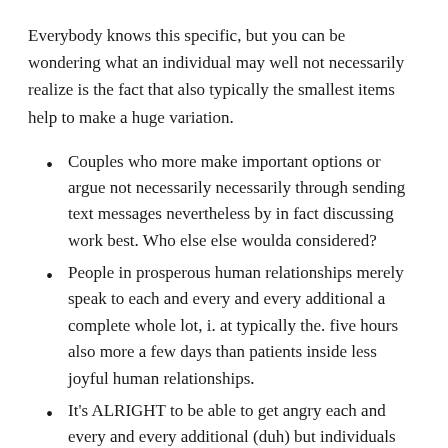Everybody knows this specific, but you can be wondering what an individual may well not necessarily realize is the fact that also typically the smallest items help to make a huge variation.
Couples who more make important options or argue not necessarily necessarily through sending text messages nevertheless by in fact discussing work best. Who else else woulda considered?
People in prosperous human relationships merely speak to each and every and every additional a complete whole lot, i. at typically the. five hours also more a few days than patients inside less joyful human relationships.
It's ALRIGHT to be able to get angry each and every and every additional (duh) but individuals who else usually are honest in the thoughts from most of the commence of any relationship are best longer lasting.
Happy couples try to defuse anxiety and fights by just